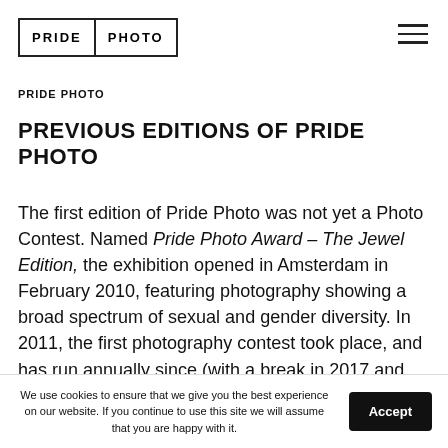[Figure (logo): Pride Photo logo: a rectangle with two sections — PRIDE on the left, PHOTO on the right, separated by a vertical line, all enclosed in a bordered box]
PRIDE PHOTO
PREVIOUS EDITIONS OF PRIDE PHOTO
The first edition of Pride Photo was not yet a Photo Contest. Named Pride Photo Award – The Jewel Edition, the exhibition opened in Amsterdam in February 2010, featuring photography showing a broad spectrum of sexual and gender diversity. In 2011, the first photography contest took place, and has run annually since (with a break in 2017 and
We use cookies to ensure that we give you the best experience on our website. If you continue to use this site we will assume that you are happy with it.